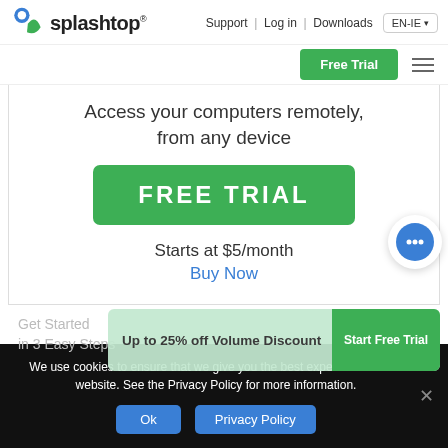Support | Log in | Downloads  EN-IE  [logo] splashtop  Free Trial  ≡
Access your computers remotely, from any device
FREE TRIAL
Starts at $5/month
Buy Now
Get Started in 3 Easy Steps
Up to 25% off Volume Discount  Start Free Trial
We use cookies to ensure that we give you the best experience on our website. See the Privacy Policy for more information.
Ok
Privacy Policy